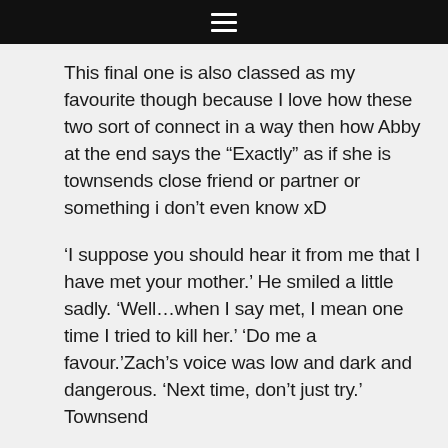☰
This final one is also classed as my favourite though because I love how these two sort of connect in a way then how Abby at the end says the “Exactly” as if she is townsends close friend or partner or something i don’t even know xD
‘I suppose you should hear it from me that I have met your mother.’ He smiled a little sadly. ‘Well…when I say met, I mean one time I tried to kill her.’ ‘Do me a favour.’Zach’s voice was low and dark and dangerous. ‘Next time, don’t just try.’ Townsend